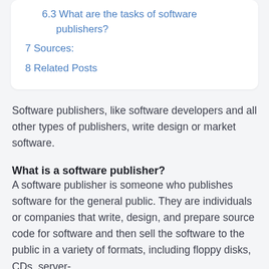6.3 What are the tasks of software publishers?
7 Sources:
8 Related Posts
Software publishers, like software developers and all other types of publishers, write design or market software.
What is a software publisher?
A software publisher is someone who publishes software for the general public. They are individuals or companies that write, design, and prepare source code for software and then sell the software to the public in a variety of formats, including floppy disks, CDs, server-